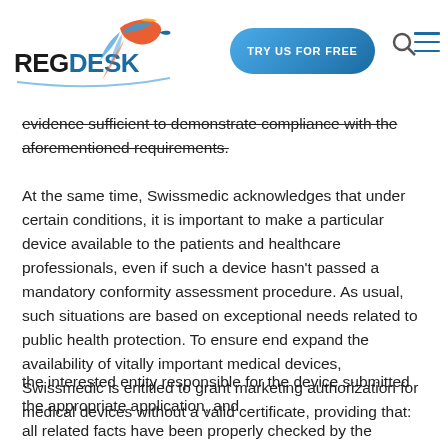REGDESK [logo] | TRY US FOR FREE | [search] [menu]
evidence sufficient to demonstrate compliance with the aforementioned requirements.
At the same time, Swissmedic acknowledges that under certain conditions, it is important to make a particular device available to the patients and healthcare professionals, even if such a device hasn't passed a mandatory conformity assessment procedure. As usual, such situations are based on exceptional needs related to public health protection. To ensure end expand the availability of vitally important medical devices, Swissmedic is entitled to grant marketing authorization for medical devices without a valid certificate, providing that:
the interested entity responsible for the device submitted the appropriate application, and
all related facts have been properly checked by the authority.